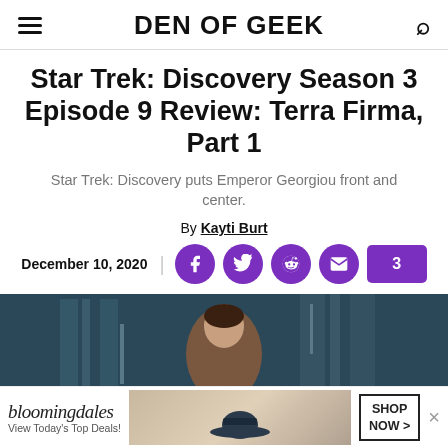DEN OF GEEK
Star Trek: Discovery Season 3 Episode 9 Review: Terra Firma, Part 1
Star Trek: Discovery puts Emperor Georgiou front and center.
By Kayti Burt
December 10, 2020
[Figure (photo): Article header photo showing a person in a sci-fi setting with blue/teal tones, partially visible]
[Figure (infographic): Bloomingdale's advertisement banner: logo, 'View Today's Top Deals!', fashion photo with hat, SHOP NOW button, close X]